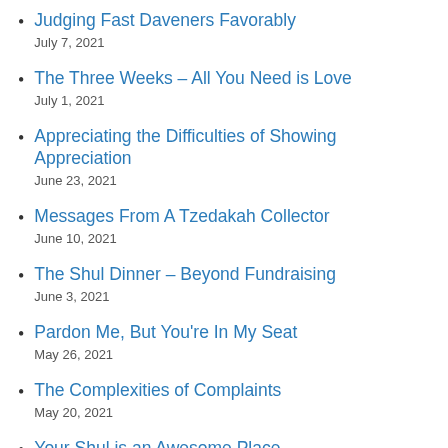Judging Fast Daveners Favorably
July 7, 2021
The Three Weeks – All You Need is Love
July 1, 2021
Appreciating the Difficulties of Showing Appreciation
June 23, 2021
Messages From A Tzedakah Collector
June 10, 2021
The Shul Dinner – Beyond Fundraising
June 3, 2021
Pardon Me, But You're In My Seat
May 26, 2021
The Complexities of Complaints
May 20, 2021
Your Shul is an Awesome Place